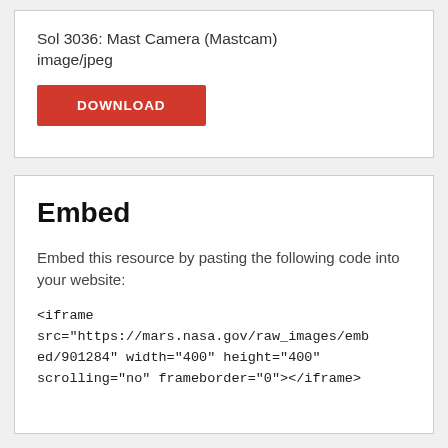Sol 3036: Mast Camera (Mastcam)
image/jpeg
[Figure (other): Red DOWNLOAD button]
Embed
Embed this resource by pasting the following code into your website:
<iframe src="https://mars.nasa.gov/raw_images/embed/901284" width="400" height="400" scrolling="no" frameborder="0"></iframe>